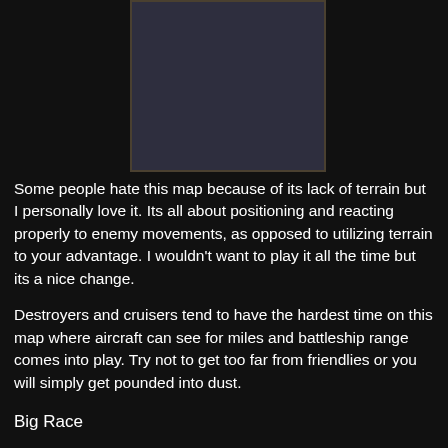[Figure (screenshot): A dark blue-gray game map screenshot shown in the upper center of the page]
Some people hate this map because of its lack of terrain but I personally love it. Its all about positioning and reacting properly to enemy movements, as opposed to utilizing terrain to your advantage. I wouldn't want to play it all the time but its a nice change.
Destroyers and cruisers tend to have the hardest time on this map where aircraft can see for miles and battleship range comes into play. Try not to get too far from friendlies or you will simply get pounded into dust.
Big Race